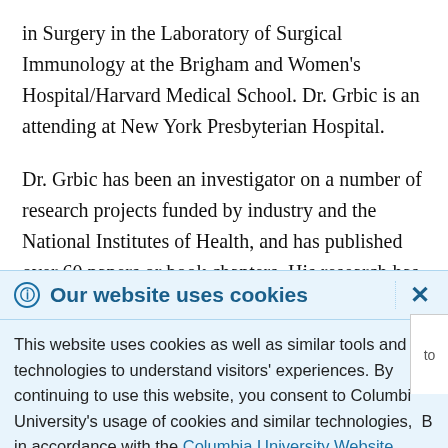in Surgery in the Laboratory of Surgical Immunology at the Brigham and Women's Hospital/Harvard Medical School. Dr. Grbic is an attending at New York Presbyterian Hospital.
Dr. Grbic has been an investigator on a number of research projects funded by industry and the National Institutes of Health, and has published over 60 papers or book chapters. His research has been in the areas of
Our website uses cookies
This website uses cookies as well as similar tools and technologies to understand visitors' experiences. By continuing to use this website, you consent to Columbia University's usage of cookies and similar technologies, B in accordance with the Columbia University Website Cookie Notice.